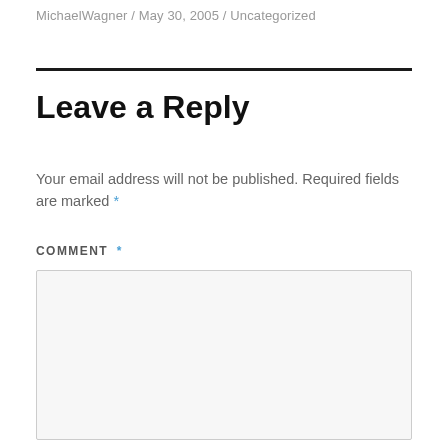MichaelWagner / May 30, 2005 / Uncategorized
Leave a Reply
Your email address will not be published. Required fields are marked *
COMMENT *